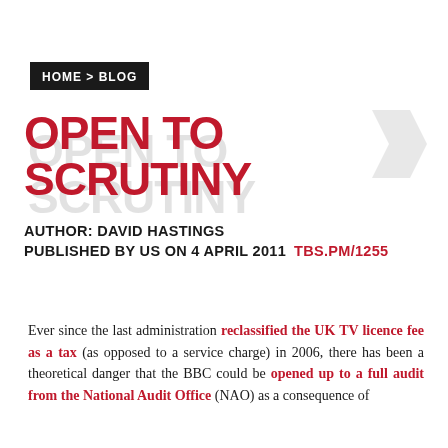HOME > BLOG
OPEN TO SCRUTINY
AUTHOR: DAVID HASTINGS
PUBLISHED BY US ON 4 APRIL 2011   TBS.PM/1255
Ever since the last administration reclassified the UK TV licence fee as a tax (as opposed to a service charge) in 2006, there has been a theoretical danger that the BBC could be opened up to a full audit from the National Audit Office (NAO) as a consequence of